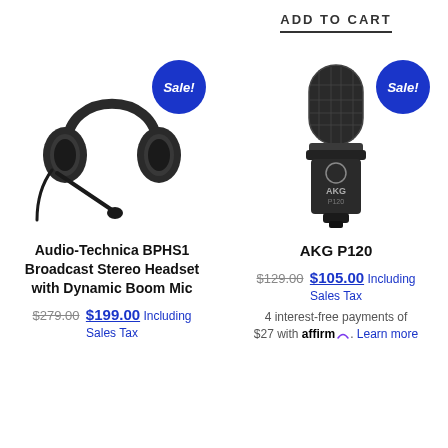ADD TO CART
[Figure (photo): Audio-Technica BPHS1 broadcast stereo headset with dynamic boom mic, shown with a blue 'Sale!' badge overlay]
Audio-Technica BPHS1 Broadcast Stereo Headset with Dynamic Boom Mic
$279.00 $199.00 Including Sales Tax
[Figure (photo): AKG P120 condenser microphone, shown with a blue 'Sale!' badge overlay]
AKG P120
$129.00 $105.00 Including Sales Tax
4 interest-free payments of $27 with affirm. Learn more